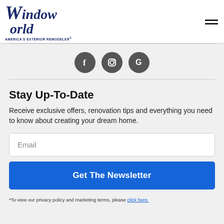Window World - AMERICA'S EXTERIOR REMODELER
[Figure (logo): Three social media icons: Facebook (f), Instagram (camera), Google (G) in dark gray circles]
Stay Up-To-Date
Receive exclusive offers, renovation tips and everything you need to know about creating your dream home.
Email
Get The Newsletter
*To view our privacy policy and marketing terms, please click here.